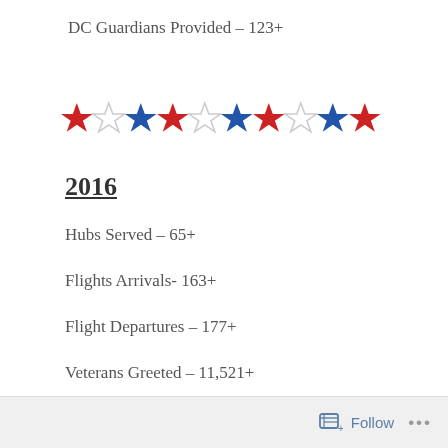DC Guardians Provided – 123+
[Figure (illustration): Row of 10 stars alternating red, white/outline, and blue colors as a decorative rating element]
2016
Hubs Served – 65+
Flights Arrivals- 163+
Flight Departures – 177+
Veterans Greeted – 11,521+
Tour Guides Provided – 248+
Follow ...